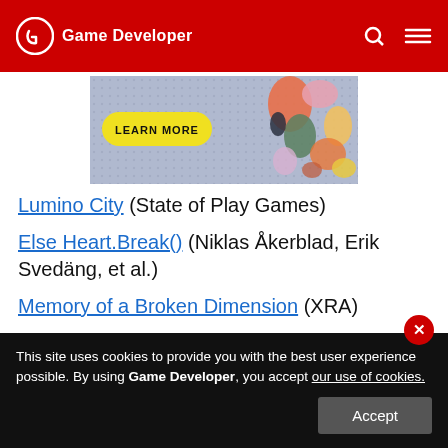Game Developer
[Figure (illustration): Advertisement banner with 'LEARN MORE' yellow button and colorful abstract blob shapes on blue-grey background]
Lumino City (State of Play Games)
Else Heart.Break() (Niklas Åkerblad, Erik Svedäng, et al.)
Memory of a Broken Dimension (XRA)
Metamorphabet (Patrick Smith)
Osveris (XXIIV and Kokersbot)
This site uses cookies to provide you with the best user experience possible. By using Game Developer, you accept our use of cookies.